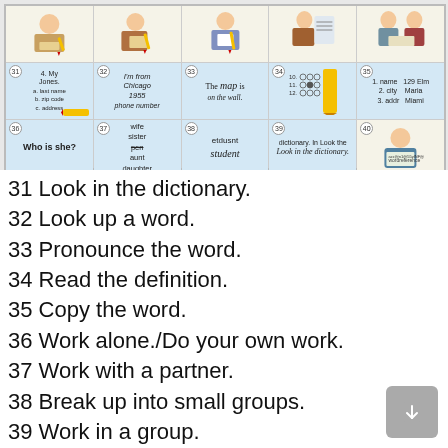[Figure (illustration): A grid of illustrated educational activity panels numbered 31-60, showing classroom activities such as looking in a dictionary, writing, working in groups, reading maps, and more.]
31 Look in the dictionary.
32 Look up a word.
33 Pronounce the word.
34 Read the definition.
35 Copy the word.
36 Work alone./Do your own work.
37 Work with a partner.
38 Break up into small groups.
39 Work in a group.
40 Work as a class.
41 Lower the shades.
42 Turn off the lights.